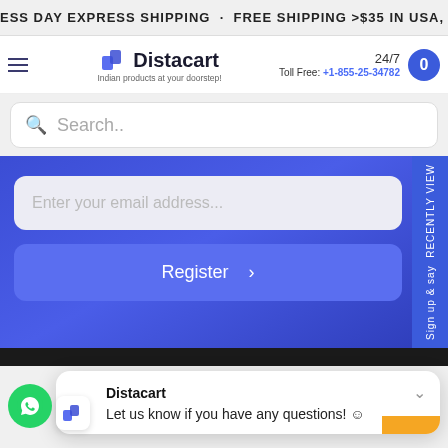ESS DAY EXPRESS SHIPPING . FREE SHIPPING >$35 IN USA, >
[Figure (logo): Distacart logo with tagline 'Indian products at your doorstep!']
24/7 Toll Free: +1-855-25-34782
Search..
Enter your email address...
Register >
Sign up & say RECENTLY VIEW
Distacart
Let us know if you have any questions! 😊